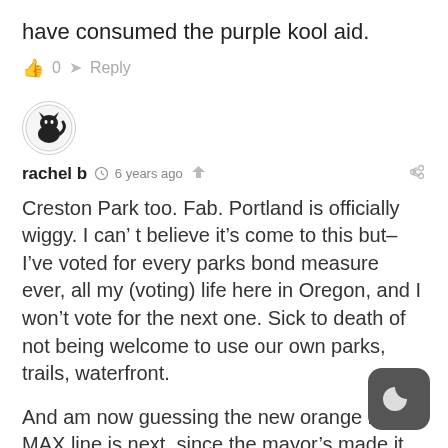have consumed the purple kool aid.
👍 0   ➤ Reply
[Figure (illustration): User avatar showing a black cat silhouette on a light circular background]
rachel b  🕐 6 years ago  < (share icon)  🔗 (link icon)
Creston Park too. Fab. Portland is officially wiggy. I can't believe it's come to this but–I've voted for every parks bond measure ever, all my (voting) life here in Oregon, and I won't vote for the next one. Sick to death of not being welcome to use our own parks, trails, waterfront.
And am now guessing the new orange line MAX line is next, since the mayor's made it clear that 'all homeless travel free' and that he's going to move Right